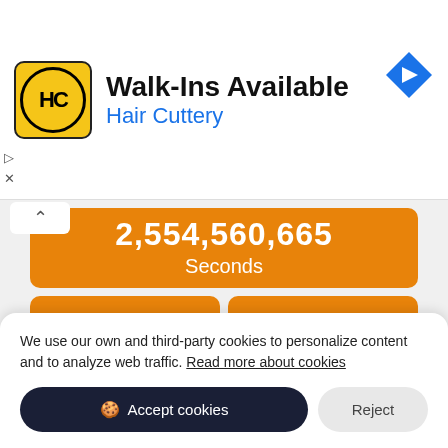[Figure (screenshot): Advertisement banner for Hair Cuttery showing logo, Walk-Ins Available text, and navigation arrow icon]
2,554,560,665 Seconds
42,576,480 Minutes
709,608 Hours
We use our own and third-party cookies to personalize content and to analyze web traffic. Read more about cookies
Accept cookies
Reject